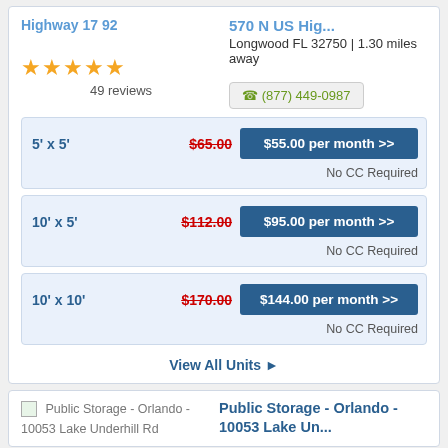Highway 17 92
570 N US Hig...
Longwood FL 32750 | 1.30 miles away
(877) 449-0987
49 reviews
| Unit Size | Regular Price | Discounted Price |
| --- | --- | --- |
| 5' x 5' | $65.00 | $55.00 per month >> |
| 10' x 5' | $112.00 | $95.00 per month >> |
| 10' x 10' | $170.00 | $144.00 per month >> |
View All Units
Public Storage - Orlando - 10053 Lake Underhill Rd
Public Storage - Orlando - 10053 Lake Un...